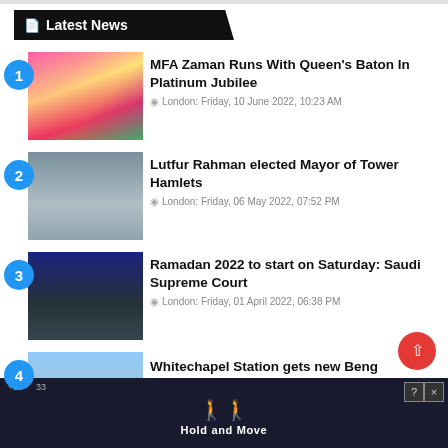Latest News
MFA Zaman Runs With Queen's Baton In Platinum Jubilee — London: Friday, 10 June 2022, 10:23 AM
Lutfur Rahman elected Mayor of Tower Hamlets — London: Friday, 06 May 2022, 07:52 PM
Ramadan 2022 to start on Saturday: Saudi Supreme Court — London: Friday, 01 April 2022, 06:38 PM
Whitechapel Station gets new Beng… signage…
[Figure (screenshot): Advertisement banner showing 'Hold and Move' with two person icons on a dark background]